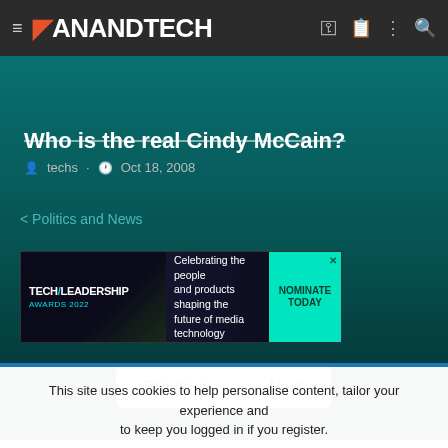AnandTech
Who is the real Cindy McCain?
techs · Oct 18, 2008
< Politics and News
[Figure (other): Tech Leadership Awards 2022 advertisement banner - Celebrating the people and products shaping the future of media technology - NOMINATE TODAY]
Previous | Next
This site uses cookies to help personalise content, tailor your experience and to keep you logged in if you register.
By continuing to use this site, you are consenting to our use of cookies.